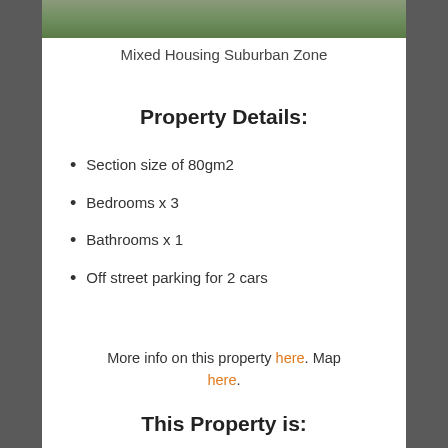[Figure (photo): Partial view of a property exterior with grass/driveway, cropped at top]
Mixed Housing Suburban Zone
Property Details:
Section size of 80gm2
Bedrooms x 3
Bathrooms x 1
Off street parking for 2 cars
More info on this property here. Map here.
This Property is: